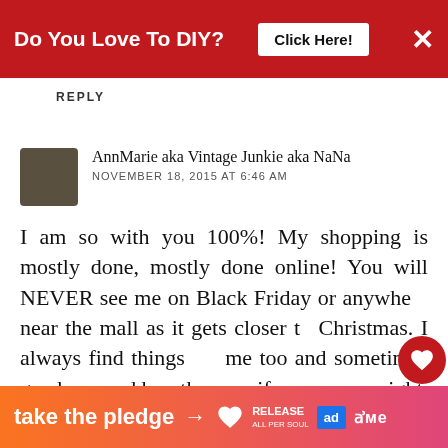[Figure (screenshot): Red top advertisement banner: 'Do You Love To DIY? Click Here!' with close X button]
REPLY
AnnMarie aka Vintage Junkie aka NaNa
NOVEMBER 18, 2015 AT 6:46 AM
I am so with you 100%! My shopping is mostly done, mostly done online! You will NEVER see me on Black Friday or anywhere near the mall as it gets closer to Christmas. I always find things for me too and sometimes go ahead and buy them .....if you want it right, (or to avoid the hassle) do it
[Figure (screenshot): Orange-pink bottom ad banner: 'take the pledge →' with Release and other logos]